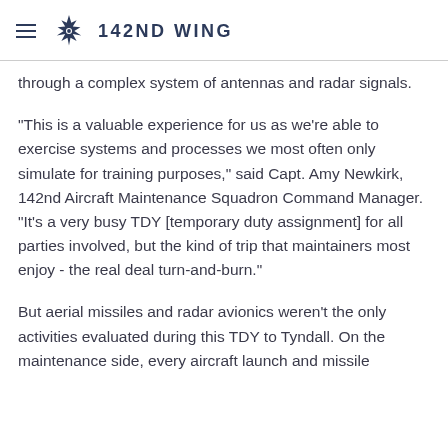142ND WING
through a complex system of antennas and radar signals.
"This is a valuable experience for us as we're able to exercise systems and processes we most often only simulate for training purposes," said Capt. Amy Newkirk, 142nd Aircraft Maintenance Squadron Command Manager.  "It's a very busy TDY [temporary duty assignment] for all parties involved, but the kind of trip that maintainers most enjoy - the real deal turn-and-burn."
But aerial missiles and radar avionics weren't the only activities evaluated during this TDY to Tyndall. On the maintenance side, every aircraft launch and missile